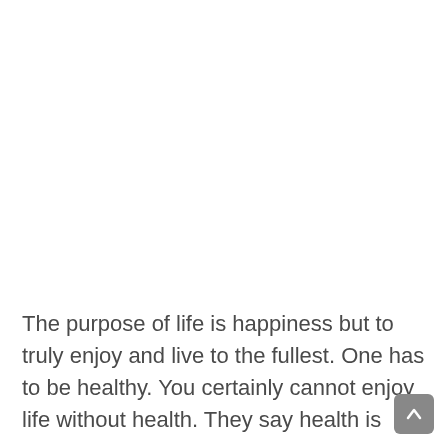The purpose of life is happiness but to truly enjoy and live to the fullest. One has to be healthy. You certainly cannot enjoy life without health. They say health is